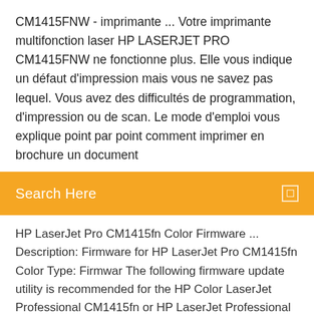CM1415FNW - imprimante ... Votre imprimante multifonction laser HP LASERJET PRO CM1415FNW ne fonctionne plus. Elle vous indique un défaut d'impression mais vous ne savez pas lequel. Vous avez des difficultés de programmation, d'impression ou de scan. Le mode d'emploi vous explique point par point comment imprimer en brochure un document
Search Here
HP LaserJet Pro CM1415fn Color Firmware ... Description: Firmware for HP LaserJet Pro CM1415fn Color Type: Firmwar The following firmware update utility is recommended for the HP Color LaserJet Professional CM1415fn or HP LaserJet Professional CM1415fnw (MFP). This utility is for use on Microsoft Windows 2000, Microsoft Windows Server 2003, Microsoft Windows XP, Microsoft Vista and Microsoft Windows 7 The utility can be used with a USB HP LaserJet Pro CM1415fn Color Multifunction Printer ... HP LaserJet Pro CM1415fn Color Multifunction Printer (CE861A) - Documentation produit